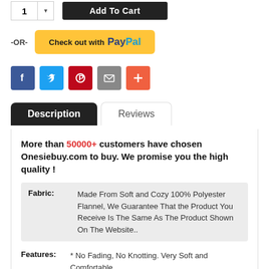[Figure (screenshot): Add to Cart button with quantity selector showing '1' and a dark 'Add To Cart' button]
[Figure (screenshot): PayPal checkout button '-OR- Check out with PayPal' on yellow background]
[Figure (infographic): Social sharing icons: Facebook (blue), Twitter (light blue), Pinterest (red), Email (gray), Plus/More (orange-red)]
[Figure (screenshot): Tab navigation with 'Description' tab active (dark) and 'Reviews' tab inactive]
More than 50000+ customers have chosen Onesiebuy.com to buy. We promise you the high quality !
| Field | Value |
| --- | --- |
| Fabric: | Made From Soft and Cozy 100% Polyester Flannel, We Guarantee That the Product You Receive Is The Same As The Product Shown On The Website.. |
| Features: | * No Fading, No Knotting. Very Soft and Comfortable. |